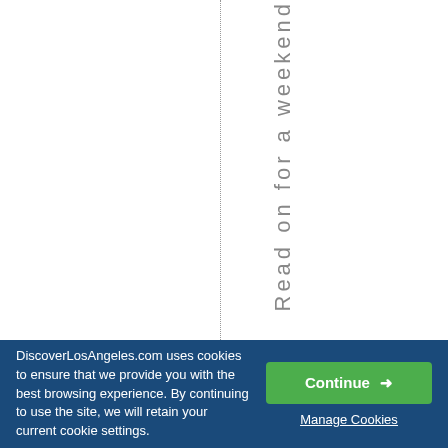[Figure (screenshot): Website page fragment showing a dotted vertical divider line and vertical text reading 'Read on for a weekend' partially visible, on a white background.]
DiscoverLosAngeles.com uses cookies to ensure that we provide you with the best browsing experience. By continuing to use the site, we will retain your current cookie settings.
Continue →
Manage Cookies